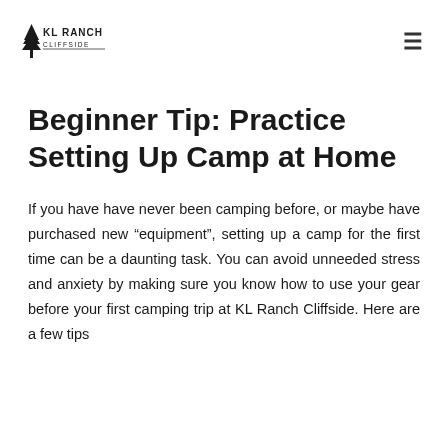[Figure (logo): KL Ranch Cliffside logo with tree illustration and text]
Beginner Tip: Practice Setting Up Camp at Home
If you have have never been camping before, or maybe have purchased new “equipment”, setting up a camp for the first time can be a daunting task. You can avoid unneeded stress and anxiety by making sure you know how to use your gear before your first camping trip at KL Ranch Cliffside. Here are a few tips